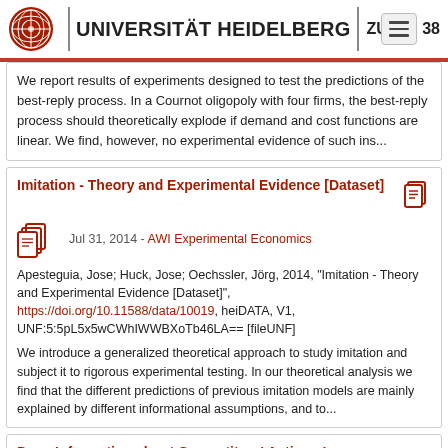UNIVERSITÄT HEIDELBERG | ZUKUNFT S... 38
We report results of experiments designed to test the predictions of the best-reply process. In a Cournot oligopoly with four firms, the best-reply process should theoretically explode if demand and cost functions are linear. We find, however, no experimental evidence of such ins...
Imitation - Theory and Experimental Evidence [Dataset]
Jul 31, 2014 - AWI Experimental Economics
Apesteguia, Jose; Huck, Jose; Oechssler, Jörg, 2014, "Imitation - Theory and Experimental Evidence [Dataset]", https://doi.org/10.11588/data/10019, heiDATA, V1, UNF:5:5pL5x5wCWhIWWBXoTb46LA== [fileUNF]
We introduce a generalized theoretical approach to study imitation and subject it to rigorous experimental testing. In our theoretical analysis we find that the different predictions of previous imitation models are mainly explained by different informational assumptions, and to...
Does Information about Competitors' Actions Increase or Decrease Competition in Experimental Oligopoly Markets? [Dataset]